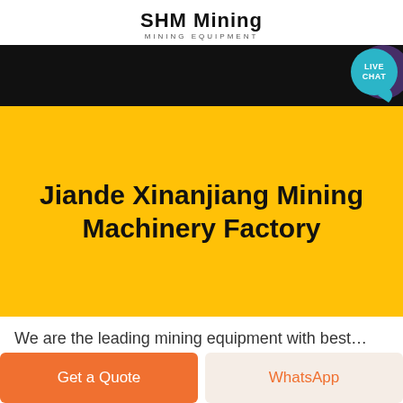SHM Mining
MINING EQUIPMENT
[Figure (screenshot): Black banner header with a teal 'LIVE CHAT' circular badge and purple speech bubble icon in top right corner]
Jiande Xinanjiang Mining Machinery Factory
We are the leading mining equipment...
Get a Quote
WhatsApp